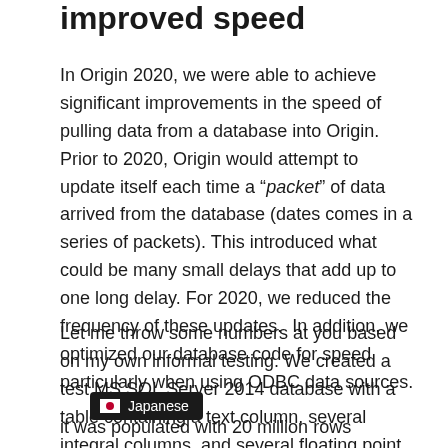improved speed
In Origin 2020, we were able to achieve significant improvements in the speed of pulling data from a database into Origin. Prior to 2020, Origin would attempt to update itself each time a “packet” of data arrived from the database (dates comes in a series of packets). This introduced what could be many small delays that add up to one long delay. For 2020, we reduced the frequency of these updates.  In addition, we optimized our database code for speed particularly when using ODBC data sources.
Let me throw some numbers at you based on my own informal testing. We created a test MS SQL Server 2014 database with a table containing a text column, several integral columns, and several floating point type data col[umns]. It was populated with 20 million rows